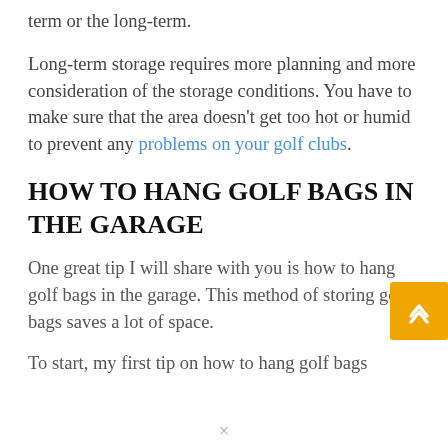term or the long-term.
Long-term storage requires more planning and more consideration of the storage conditions. You have to make sure that the area doesn't get too hot or humid to prevent any problems on your golf clubs.
HOW TO HANG GOLF BAGS IN THE GARAGE
One great tip I will share with you is how to hang golf bags in the garage. This method of storing golf bags saves a lot of space.
To start, my first tip on how to hang golf bags